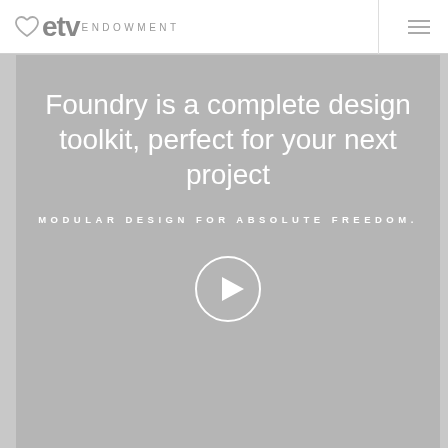ETV ENDOWMENT
Foundry is a complete design toolkit, perfect for your next project
MODULAR DESIGN FOR ABSOLUTE FREEDOM.
[Figure (illustration): Play button circle icon — white circle outline with white triangle play icon inside]